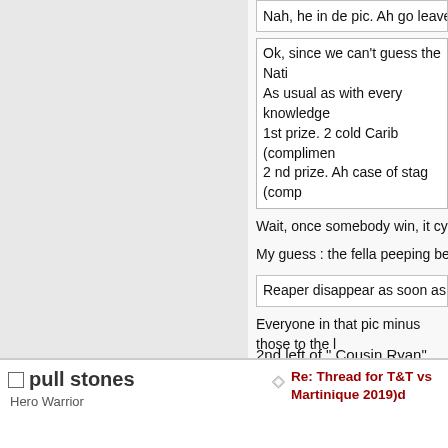Nah, he in de pic. Ah go leave
Ok, since we can't guess the Nati
As usual as with every knowledge
1st prize. 2 cold Carib (complimen
2 nd prize. Ah case of stag (comp
Wait, once somebody win, it cyah
My guess : the fella peeping behin
Reaper disappear as soon as yuh me
Everyone in that pic minus those to the l in the pic)
And of y'all can't find me or notice somet
2nd left of " Cousin Ryan"
pull stones
Hero Warrior
Re: Thread for T&T vs Martinique 2019)d